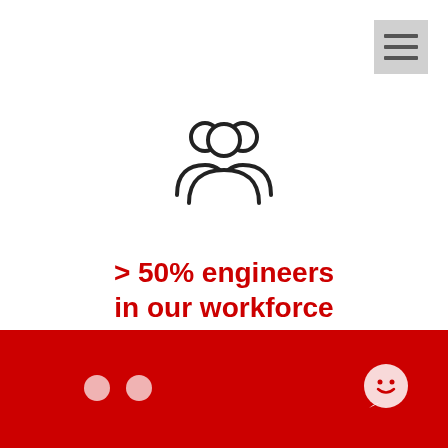[Figure (infographic): Menu/hamburger icon in gray square at top right corner]
[Figure (illustration): Two person/people outline icon (group of users) in dark gray, centered on white background]
> 50% engineers in our workforce
[Figure (infographic): Red background bottom section with two white dots (pagination indicators) and a white chat bubble icon with smiley face on the right]